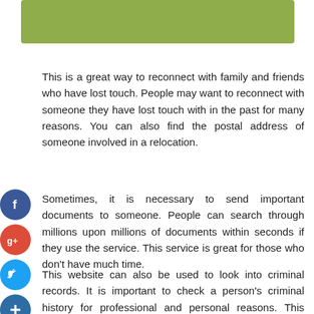[Figure (other): Green/olive colored banner rectangle at top of page]
This is a great way to reconnect with family and friends who have lost touch. People may want to reconnect with someone they have lost touch with in the past for many reasons. You can also find the postal address of someone involved in a relocation.
[Figure (other): Social media icons on the left side: Facebook (blue circle with f), Google+ (red circle with g+), Twitter (light blue circle with bird), Plus/share (dark blue circle with +)]
Sometimes, it is necessary to send important documents to someone. People can search through millions upon millions of documents within seconds if they use the service. This service is great for those who don't have much time.
This website can also be used to look into criminal records. It is important to check a person's criminal history for professional and personal reasons. This service can be used by employers to ensure that they do business with credible individuals. Individuals renting out properties can benefit from